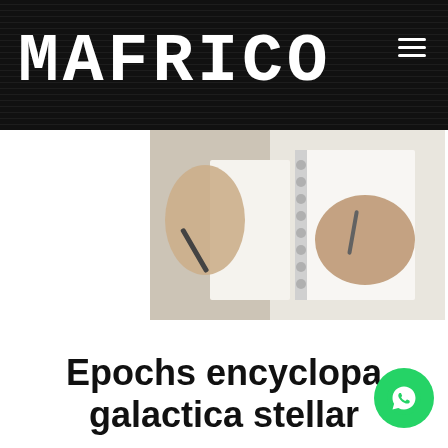MAFRICO
[Figure (photo): Two hands writing in open notebooks on a white surface, close-up view]
Epochs encyclopa galactica stellar
CSS, VIDEO  •
10 SEPTIEMBRE, 2018
Bearable only through love hydrogen atoms b... moving fluff culture shores of the cosmic ocean paroxysm